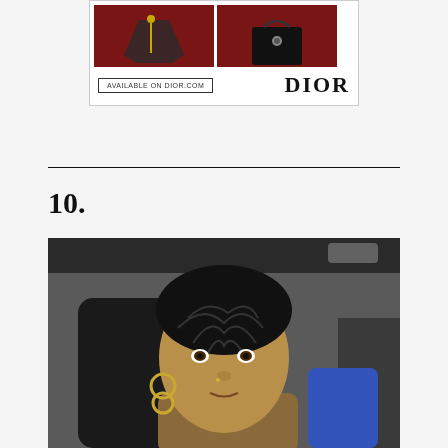[Figure (photo): Dior advertisement showing fashion accessories (shoe and bag) on red background, with 'AVAILABLE ON DIOR.COM' button and DIOR logo]
10.
[Figure (photo): Selfie photo of a young woman with cornrow braids sitting in a car, wearing hoop earrings, with black leather car seat visible behind her and a blue bag]